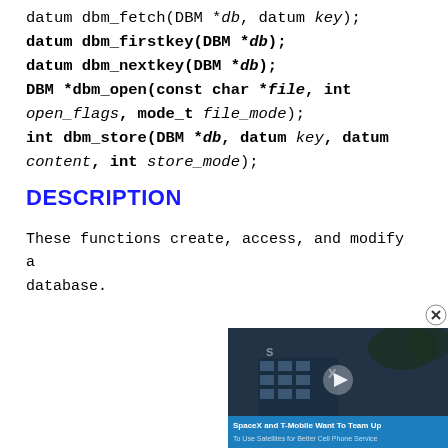datum dbm_fetch(DBM *db, datum key);
datum dbm_firstkey(DBM *db);
datum dbm_nextkey(DBM *db);
DBM *dbm_open(const char *file, int open_flags, mode_t file_mode);
int dbm_store(DBM *db, datum key, datum content, int store_mode);
DESCRIPTION
These functions create, access, and modify a database.
[Figure (screenshot): Ad overlay video player showing a SpaceX building with caption 'SpaceX and T-Mobile Want To Team Up — To Use Satellites for Better Cell Phone Service' with a close button (X) and play button]